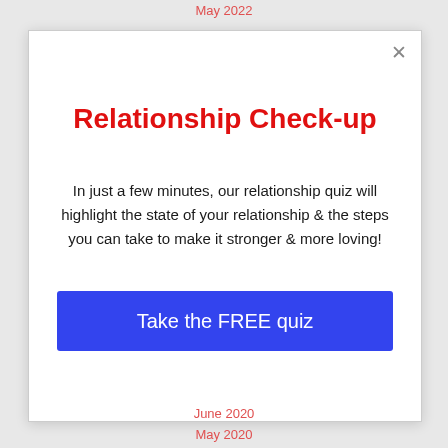May 2022
Relationship Check-up
In just a few minutes, our relationship quiz will highlight the state of your relationship & the steps you can take to make it stronger & more loving!
Take the FREE quiz
June 2020
May 2020